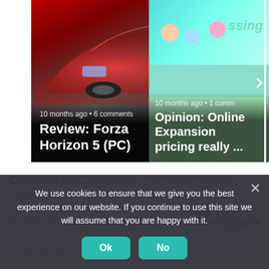[Figure (screenshot): Carousel showing two article cards: 'Review: Forza Horizon 5 (PC)' (10 months ago, 6 comments) and 'Opinion: Online Expansion pricing really ...' (10 months ago, 1 comment). Navigation arrows on left and right.]
Comments
Community
🔒 Privacy Policy
1  Login
♡ Favorite
Sort by Best
Join the discussion
We use cookies to ensure that we give you the best experience on our website. If you continue to use this site we will assume that you are happy with it.